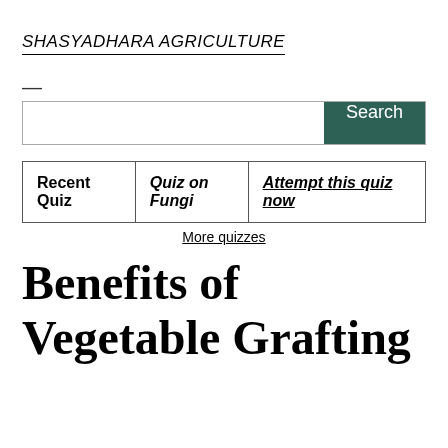SHASYADHARA AGRICULTURE
| Recent Quiz | Quiz on Fungi | Attempt this quiz now |
| --- | --- | --- |
More quizzes
Benefits of Vegetable Grafting